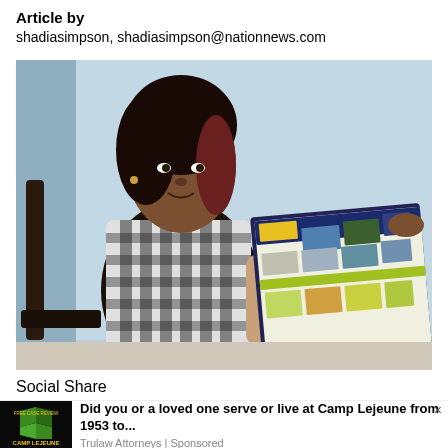Article by
shadiasimpson, shadiasimpson@nationnews.com
[Figure (photo): A woman sitting in a chair, holding up an open magazine or booklet showing a collage of sports/event photos with yellow and green design, against a light blue background.]
Social Share
[Figure (advertisement): Ad for Camp Lejeune Free Case Review by Trulaw Attorneys. Shows a dark image with green camp logo. Text: 'Did you or a loved one serve or live at Camp Lejeune from 1953 to...' Trulaw Attorneys | Sponsored]